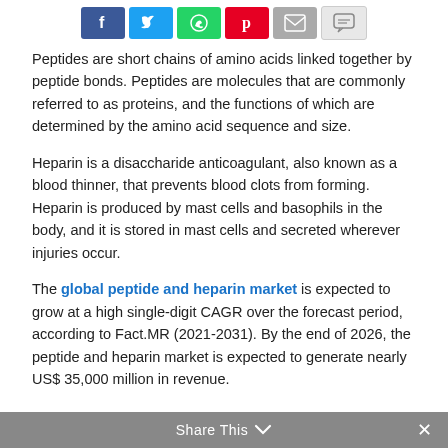[Figure (other): Social media share buttons row: Facebook (blue), Twitter (light blue), WhatsApp (green), Pinterest (red), Email (gray), Message (light gray)]
Peptides are short chains of amino acids linked together by peptide bonds. Peptides are molecules that are commonly referred to as proteins, and the functions of which are determined by the amino acid sequence and size.
Heparin is a disaccharide anticoagulant, also known as a blood thinner, that prevents blood clots from forming. Heparin is produced by mast cells and basophils in the body, and it is stored in mast cells and secreted wherever injuries occur.
The global peptide and heparin market is expected to grow at a high single-digit CAGR over the forecast period, according to Fact.MR (2021-2031). By the end of 2026, the peptide and heparin market is expected to generate nearly US$ 35,000 million in revenue.
Share This ∨  ×